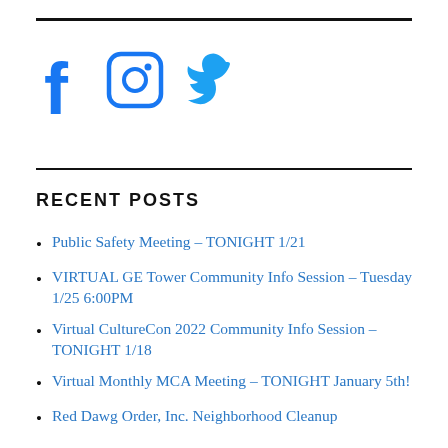[Figure (logo): Social media icons: Facebook (f), Instagram (camera), Twitter (bird), all in blue]
RECENT POSTS
Public Safety Meeting – TONIGHT 1/21
VIRTUAL GE Tower Community Info Session – Tuesday 1/25 6:00PM
Virtual CultureCon 2022 Community Info Session – TONIGHT 1/18
Virtual Monthly MCA Meeting – TONIGHT January 5th!
Red Dawg Order, Inc. Neighborhood Cleanup